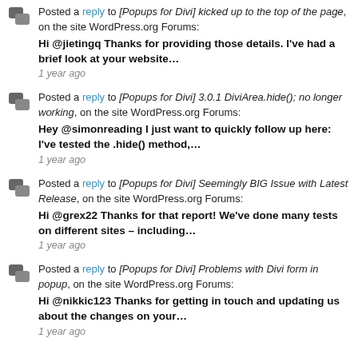Posted a reply to [Popups for Divi] kicked up to the top of the page, on the site WordPress.org Forums: Hi @jietingq Thanks for providing those details. I've had a brief look at your website… 1 year ago
Posted a reply to [Popups for Divi] 3.0.1 DiviArea.hide(); no longer working, on the site WordPress.org Forums: Hey @simonreading I just want to quickly follow up here: I've tested the .hide() method,… 1 year ago
Posted a reply to [Popups for Divi] Seemingly BIG Issue with Latest Release, on the site WordPress.org Forums: Hi @grex22 Thanks for that report! We've done many tests on different sites – including… 1 year ago
Posted a reply to [Popups for Divi] Problems with Divi form in popup, on the site WordPress.org Forums: Hi @nikkic123 Thanks for getting in touch and updating us about the changes on your… 1 year ago